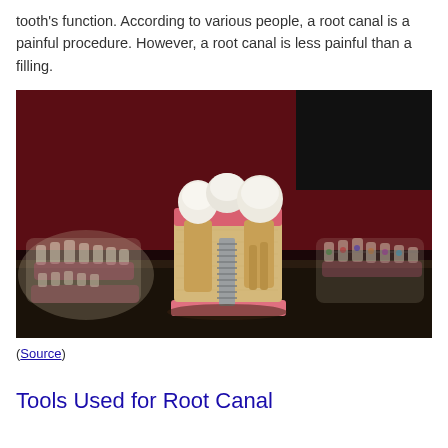tooth's function. According to various people, a root canal is a painful procedure. However, a root canal is less painful than a filling.
[Figure (photo): Photograph of dental tooth models on a dark table. The center model shows a cross-section of teeth including a dental implant with a screw, natural teeth, and gum tissue. Additional transparent/clear dental jaw models are visible on the left and right sides. Background is dark red and black.]
(Source)
Tools Used for Root Canal